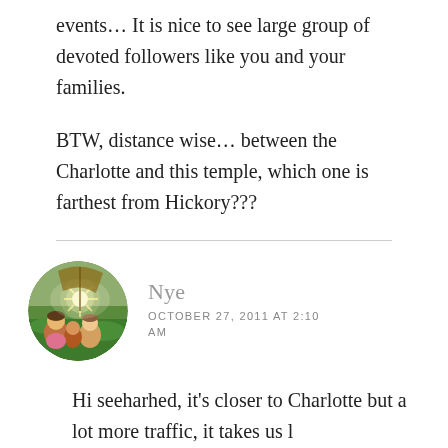events… It is nice to see large group of devoted followers like you and your families.
BTW, distance wise… between the Charlotte and this temple, which one is farthest from Hickory???
Nye
OCTOBER 27, 2011 AT 2:10 AM
[Figure (photo): Circular avatar photo of a person at an outdoor event with sunlight and crowd in the background]
Hi seeharhed, it's closer to Charlotte but a lot more traffic, it takes us l